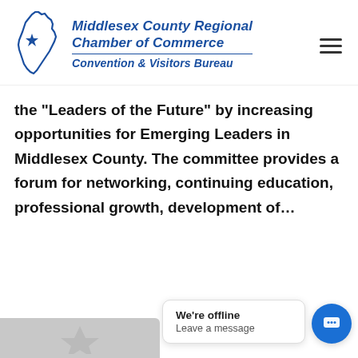[Figure (logo): Middlesex County Regional Chamber of Commerce Convention & Visitors Bureau logo with NJ state outline and star]
the “Leaders of the Future” by increasing opportunities for Emerging Leaders in Middlesex County. The committee provides a forum for networking, continuing education, professional growth, development of…
[Figure (screenshot): Chat widget popup showing 'We're offline / Leave a message' with blue chat button icon]